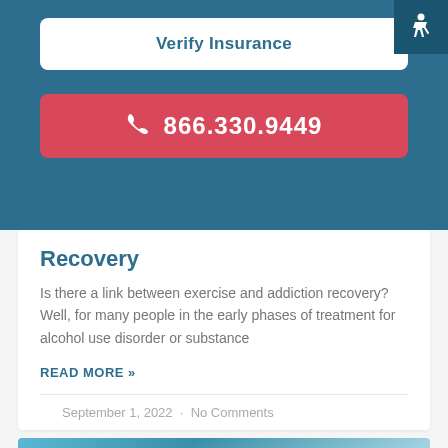Verify Insurance
866.330.9449
Recovery
Is there a link between exercise and addiction recovery? Well, for many people in the early phases of treatment for alcohol use disorder or substance
READ MORE »
September 1, 2022  ·  No Comments